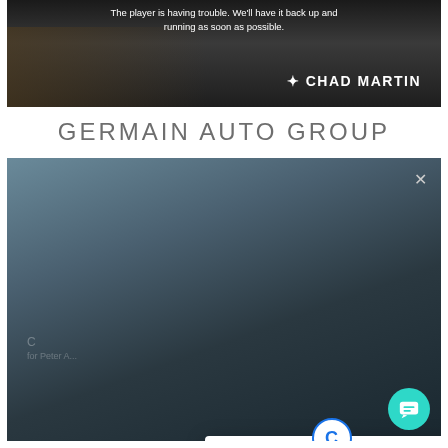[Figure (screenshot): Video player showing error message 'The player is having trouble. We'll have it back up and running as soon as possible.' with silhouette and 'CHAD MARTIN' text overlay on dark background]
GERMAIN AUTO GROUP
[Figure (screenshot): Video player with foggy/misty background and a popup widget showing 'Hey! Quick Question :)' with a blue 'C' icon, close X button, and a teal chat bubble icon in the bottom right corner]